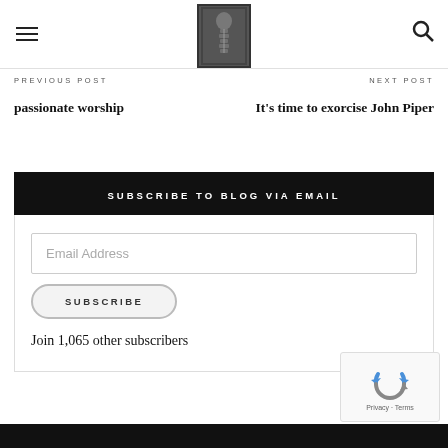[Figure (logo): Blog header with hamburger menu, X-ray spine logo image, and search icon]
PREVIOUS POST | passionate worship | NEXT POST | It's time to exorcise John Piper
passionate worship
It's time to exorcise John Piper
SUBSCRIBE TO BLOG VIA EMAIL
Email Address
SUBSCRIBE
Join 1,065 other subscribers
[Figure (logo): reCAPTCHA badge with recycling arrows logo and Privacy · Terms text]